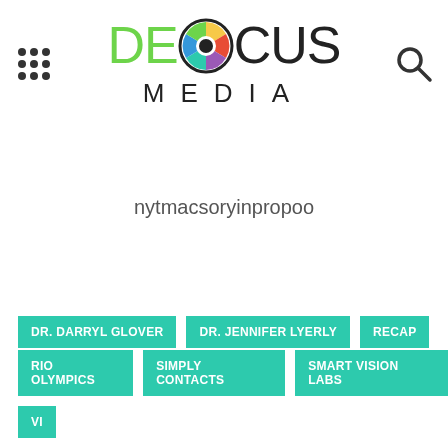[Figure (logo): Defocus Media logo with colorful camera shutter icon replacing the letter O in FOCUS, with MEDIA spelled out below]
nytmacsoryinpropoo
DR. DARRYL GLOVER
DR. JENNIFER LYERLY
RECAP
RIO OLYMPICS
SIMPLY CONTACTS
SMART VISION LABS